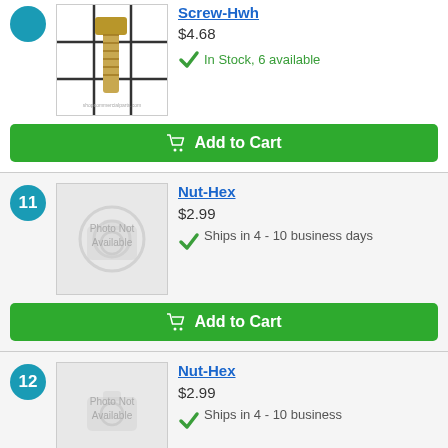[Figure (photo): Screw-HWH product photo on grid background]
Screw-Hwh
$4.68
In Stock, 6 available
Add to Cart
11
[Figure (photo): Photo Not Available placeholder for Nut-Hex]
Nut-Hex
$2.99
Ships in 4 - 10 business days
Add to Cart
12
[Figure (photo): Photo Not Available placeholder for Nut-Hex item 12]
Nut-Hex
$2.99
Ships in 4 - 10 business